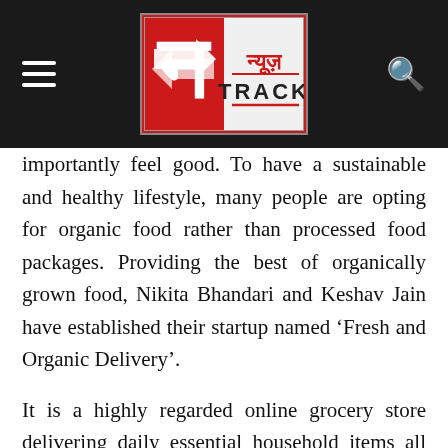[Figure (logo): News Track (न्यूज़ TRACK) logo — red and white logo on dark header bar with hamburger menu on left and search icon on right]
importantly feel good. To have a sustainable and healthy lifestyle, many people are opting for organic food rather than processed food packages. Providing the best of organically grown food, Nikita Bhandari and Keshav Jain have established their startup named 'Fresh and Organic Delivery'.
It is a highly regarded online grocery store delivering daily essential household items all over India with free shipping to the customers having no minimum order value. This one-of-a-kind premium platform has enabled customers to connect to farmers and has an array of high-quality goods and products available on